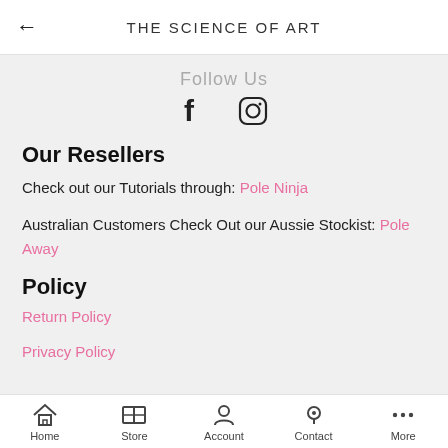THE SCIENCE OF ART
Follow Us
[Figure (illustration): Facebook and Instagram social media icons]
Our Resellers
Check out our Tutorials through: Pole Ninja
Australian Customers Check Out our Aussie Stockist: Pole Away
Policy
Return Policy
Privacy Policy
Home  Store  Account  Contact  More